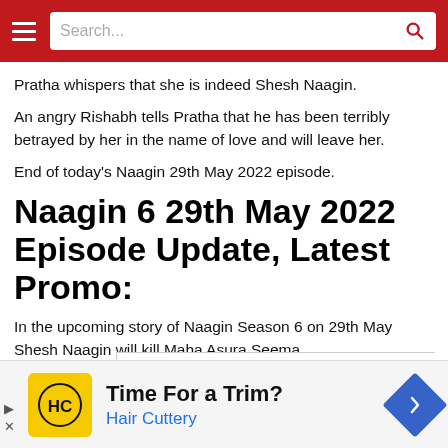Search...
Pratha whispers that she is indeed Shesh Naagin.
An angry Rishabh tells Pratha that he has been terribly betrayed by her in the name of love and will leave her.
End of today's Naagin 29th May 2022 episode.
Naagin 6 29th May 2022 Episode Update, Latest Promo:
In the upcoming story of Naagin Season 6 on 29th May Shesh Naagin will kill Maha Asura Seema.
[Figure (advertisement): Hair Cuttery advertisement with yellow HC logo, text 'Time For a Trim?' and 'Hair Cuttery' in blue, and a blue navigation diamond icon on the right.]